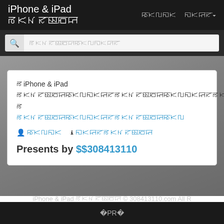iPhone & iPad ꡏꡡꡊꡛꡣꡂꡒ ꡐꡡꡃ ꡎꡡꡒꡛ▾
ꡏꡡꡊꡛꡣꡂꡒꡐꡡꡃꡎꡡꡒꡛ
ꡏiPhone & iPad ꡏꡡꡊꡛꡣꡂꡒꡐꡡꡃꡎꡡꡒꡛꡏꡡꡊꡛꡣꡂꡒꡐꡡꡃꡎꡡꡒꡛꡏꡡꡊꡛꡣꡂꡒꡐꡡꡃꡎꡡꡒꡛꡏꡡꡊꡛꡣꡂꡒꡐꡡꡃꡎꡡꡒꡛꡏꡡꡊꡛꡣꡂꡒꡐꡡꡃ ꡏ
ꡏꡡꡊꡛꡣꡂꡒꡐꡡꡃꡎꡡꡒꡛꡏꡡꡊꡛꡣꡂꡒꡐꡡꡃ
👤 ꡐꡡꡃꡎꡡ   ℹ ꡎꡡꡒꡛꡏꡡꡊꡛꡣꡂꡒ
Presents by $$308413110
iPhone & iPad ꡏꡡꡊꡛꡣꡂꡒ © 308413110.com All R
◌PR◌